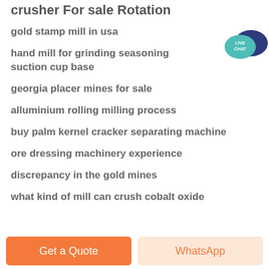crusher For sale Rotation
gold stamp mill in usa
hand mill for grinding seasoning suction cup base
[Figure (illustration): Live Chat speech bubble icon with teal and dark blue colors, text reading LIVE CHAT]
georgia placer mines for sale
alluminium rolling milling process
buy palm kernel cracker separating machine
ore dressing machinery experience
discrepancy in the gold mines
what kind of mill can crush cobalt oxide
Get a Quote | WhatsApp